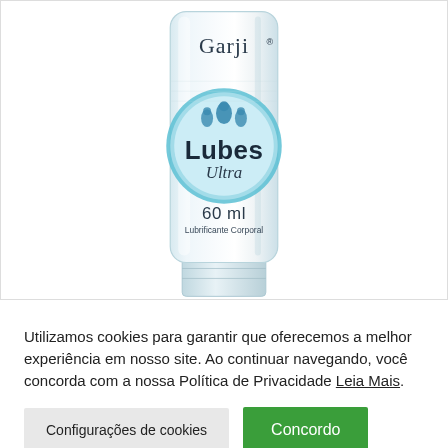[Figure (photo): Product photo of Garji Lubes Ultra 60ml Lubrificante Corporal tube, white translucent squeeze tube with blue circular label showing a blue droplet splash design, the brand name Garji at top, Lubes in bold dark text, Ultra in italic, 60 ml and Lubrificante Corporal below.]
Utilizamos cookies para garantir que oferecemos a melhor experiência em nosso site. Ao continuar navegando, você concorda com a nossa Política de Privacidade Leia Mais.
Configurações de cookies
Concordo